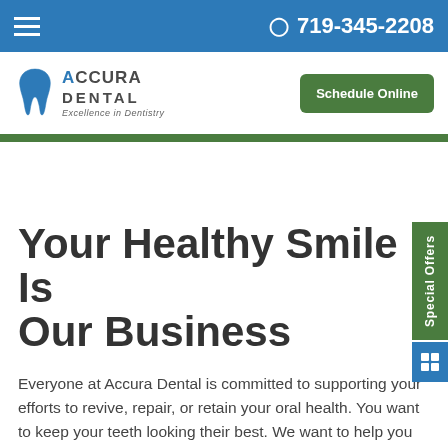☰  719-345-2208
[Figure (logo): Accura Dental logo with tooth icon and tagline 'Excellence in Dentistry']
Schedule Online
Your Healthy Smile Is Our Business
Everyone at Accura Dental is committed to supporting your efforts to revive, repair, or retain your oral health. You want to keep your teeth looking their best. We want to help you smile to be as attractive as it can be. That's why we want you to brush, floss, and visit our general dentist office regularly.
We put an emphasis on the basics as part of our high-quality dental care. Preventing problems is always a